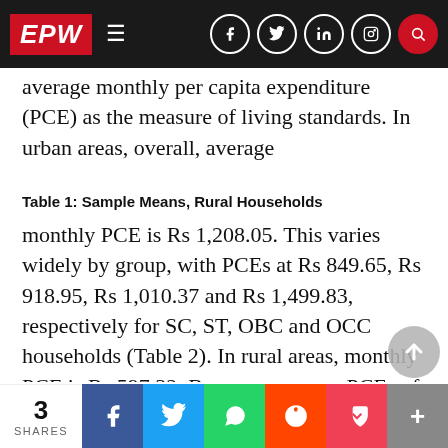EPW
average monthly per capita expenditure (PCE) as the measure of living standards. In urban areas, overall, average
Table 1: Sample Means, Rural Households
monthly PCE is Rs 1,208.05. This varies widely by group, with PCEs at Rs 849.65, Rs 918.95, Rs 1,010.37 and Rs 1,499.83, respectively for SC, ST, OBC and OCC households (Table 2). In rural areas, monthly PCE is Rs 597.32. By group, we see PCEs of Rs 505.05, Rs 434.75, Rs 597.25 and Rs 742.44 respectively for SC, ST, OBC and OCC households (Table 1). Thus, the gap in urban living standards for ST, SC and OBC households, as a percentage of
3 SHARES